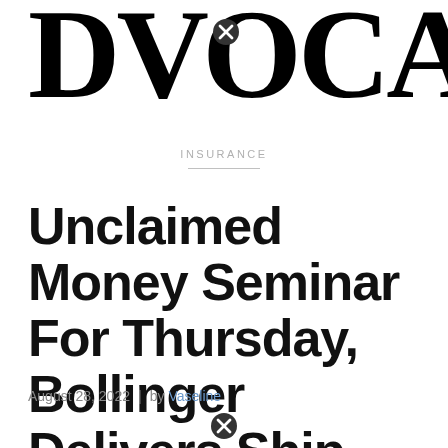DVOCAT
INSURANCE
Unclaimed Money Seminar For Thursday, Bollinger Delivers Ship To…
August 28, 2022 | by Vaseline